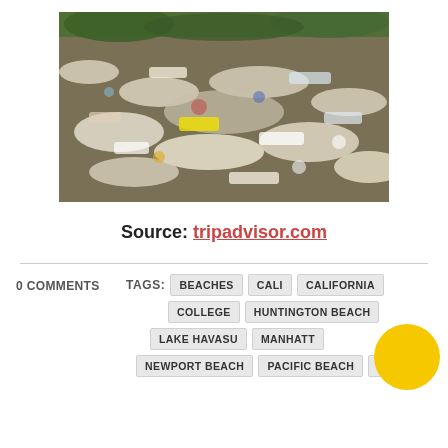[Figure (photo): Aerial view of a crowded gathering of boats packed tightly together on water, with many people visible on the boats.]
Source: tripadvisor.com
0 COMMENTS
TAGS: BEACHES CALI CALIFORNIA COLLEGE HUNTINGTON BEACH LAKE HAVASU MANHATTAN NEWPORT BEACH PACIFIC BEACH PARTY